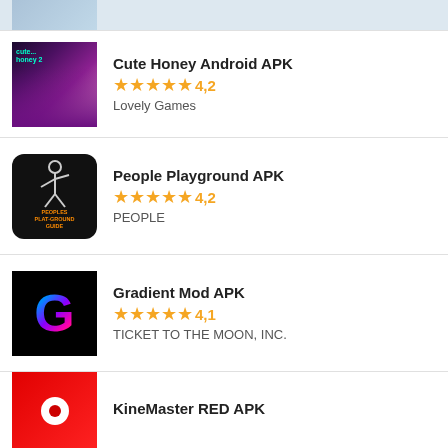[Figure (photo): Partial top view of an app icon (cropped)]
[Figure (photo): Cute Honey anime game app icon with purple/pink gradient background and anime girl character]
Cute Honey Android APK
4,2
Lovely Games
[Figure (photo): People Playground app icon with dark background and stickman puppet figure, text: PEOPLES PLAT-GROUND GUIDE]
People Playground APK
4,2
PEOPLE
[Figure (logo): Gradient Mod APK icon with black background and colorful G logo]
Gradient Mod APK
4,1
TICKET TO THE MOON, INC.
[Figure (photo): KineMaster RED app icon with red background and white circle with red dot]
KineMaster RED APK